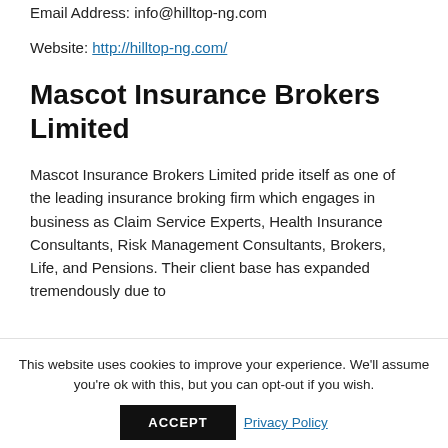Email Address: info@hilltop-ng.com
Website: http://hilltop-ng.com/
Mascot Insurance Brokers Limited
Mascot Insurance Brokers Limited pride itself as one of the leading insurance broking firm which engages in business as Claim Service Experts, Health Insurance Consultants, Risk Management Consultants, Brokers, Life, and Pensions. Their client base has expanded tremendously due to
This website uses cookies to improve your experience. We'll assume you're ok with this, but you can opt-out if you wish.